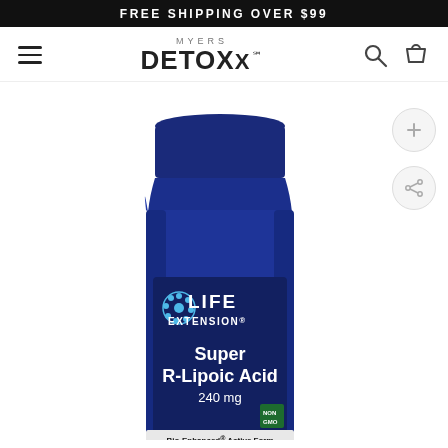FREE SHIPPING OVER $99
[Figure (logo): Myers Detox logo with hamburger menu, search and cart icons in navigation bar]
[Figure (photo): Life Extension Super R-Lipoic Acid 240 mg supplement bottle in dark blue. Label shows Life Extension logo, product name Super R-Lipoic Acid, 240 mg, NON GMO badge, and tagline Bio-Enhanced Active Form of Lipoic Acid.]